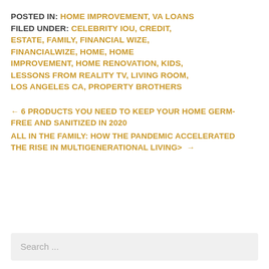POSTED IN: HOME IMPROVEMENT, VA LOANS FILED UNDER: CELEBRITY IOU, CREDIT, ESTATE, FAMILY, FINANCIAL WIZE, FINANCIALWIZE, HOME, HOME IMPROVEMENT, HOME RENOVATION, KIDS, LESSONS FROM REALITY TV, LIVING ROOM, LOS ANGELES CA, PROPERTY BROTHERS
← 6 PRODUCTS YOU NEED TO KEEP YOUR HOME GERM-FREE AND SANITIZED IN 2020
ALL IN THE FAMILY: HOW THE PANDEMIC ACCELERATED THE RISE IN MULTIGENERATIONAL LIVING> →
Search ...